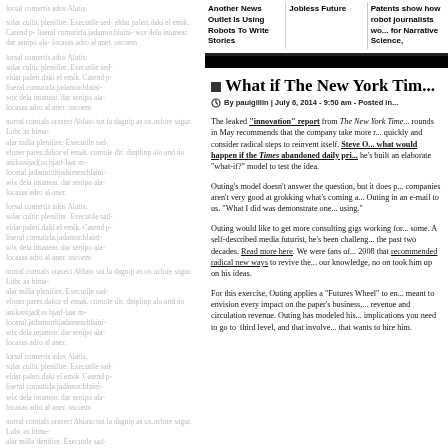[Background faded/blurred text column — decorative lorem-ipsum style repeated paragraphs]
Another News Outlet Is Using Robots To Write Stories | Jobless Future | Patents show how robot journalists wo... for Narrative Science,
What if The New York Tim...
By paulgillin | July 6, 2014 - 9:50 am - Posted in...
The leaked "innovation" report from The New York Time... rounds in May recommends that the company take more r... quickly and consider radical steps to reinvent itself. Steve O... what would happen if the Times abandoned daily pri... he's built an elaborate "what-if?" model to test the idea. Outing's model doesn't answer the question, but it does p... companies aren't very good at grokking what's coming a... Outing in an e-mail to us. "What I did was demonstrate one... using." Outing would like to get more consulting gigs working for... some. A self-described media futurist, he's been challeng... the past two decades. Read more here. We were fans of... 2008 that recommended radical new ways to revive the... our knowledge, no on took him up on his ideas. For this exercise, Outing applies a "Futures Wheel" to en... meant to envision every impact on the paper's business,... revenue and circulation revenue. Outing has modeled his... implications you need to go to third level, and that involve... that wants to hire him.